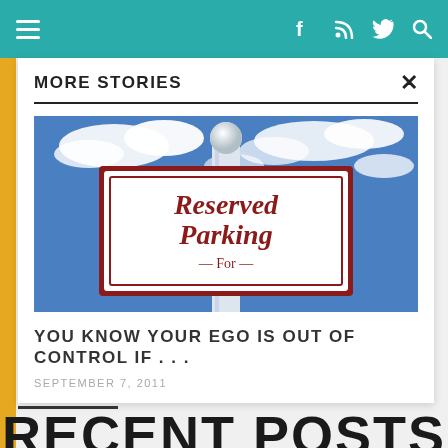Navigation bar with hamburger menu, facebook, rss, twitter, search icons
MORE STORIES
[Figure (photo): A Reserved Parking sign on a post against a blue sky with clouds]
YOU KNOW YOUR EGO IS OUT OF CONTROL IF . . .
SEPTEMBER 7, 2011
RECENT POSTS